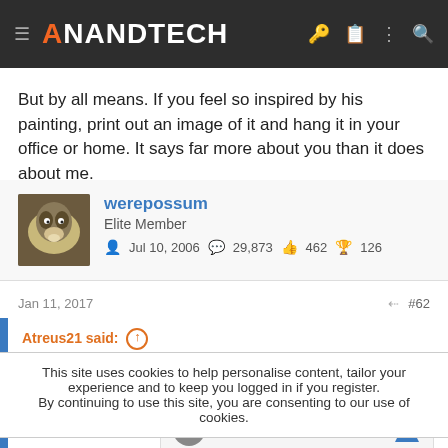AnandTech
But by all means. If you feel so inspired by his painting, print out an image of it and hang it in your office or home. It says far more about you than it does about me.
werepossum
Elite Member
Jul 10, 2006  29,873  462  126
Jan 11, 2017  #62
Atreus21 said: ↑
This site uses cookies to help personalise content, tailor your experience and to keep you logged in if you register.
By continuing to use this site, you are consenting to our use of cookies.
Save Up to 65%